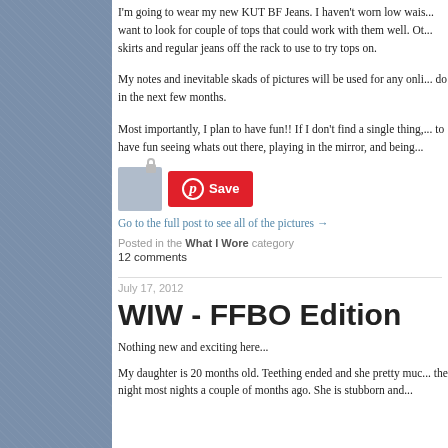I'm going to wear my new KUT BF Jeans. I haven't worn low wais... want to look for couple of tops that could work with them well. Ot... skirts and regular jeans off the rack to use to try tops on.
My notes and inevitable skads of pictures will be used for any onli... do in the next few months.
Most importantly, I plan to have fun!! If I don't find a single thing,... to have fun seeing whats out there, playing in the mirror, and being...
[Figure (screenshot): Pinterest Save button widget with thumbnail image and red Save button]
Go to the full post to see all of the pictures →
Posted in the What I Wore category
12 comments
July 17, 2012
WIW - FFBO Edition
Nothing new and exciting here...
My daughter is 20 months old. Teething ended and she pretty muc... the night most nights a couple of months ago. She is stubborn and...